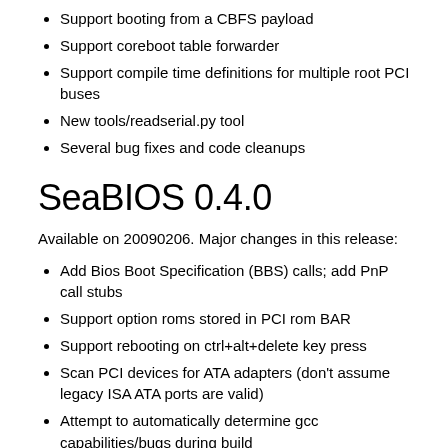Support booting from a CBFS payload
Support coreboot table forwarder
Support compile time definitions for multiple root PCI buses
New tools/readserial.py tool
Several bug fixes and code cleanups
SeaBIOS 0.4.0
Available on 20090206. Major changes in this release:
Add Bios Boot Specification (BBS) calls; add PnP call stubs
Support option roms stored in PCI rom BAR
Support rebooting on ctrl+alt+delete key press
Scan PCI devices for ATA adapters (don't assume legacy ISA ATA ports are valid)
Attempt to automatically determine gcc capabilities/bugs during build
Add script to layout 16bit sections at fixed offsets and in compacted space